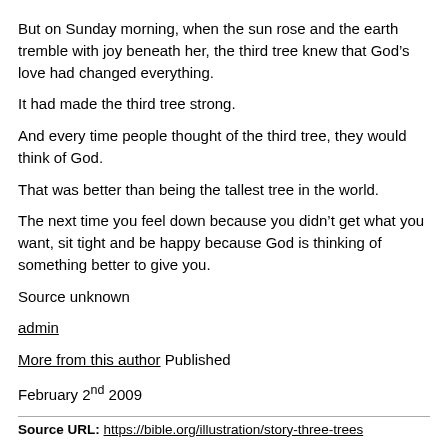But on Sunday morning, when the sun rose and the earth tremble with joy beneath her, the third tree knew that God’s love had changed everything.
It had made the third tree strong.
And every time people thought of the third tree, they would think of God.
That was better than being the tallest tree in the world.
The next time you feel down because you didn’t get what you want, sit tight and be happy because God is thinking of something better to give you.
Source unknown
admin
More from this author Published
February 2nd 2009
Source URL: https://bible.org/illustration/story-three-trees